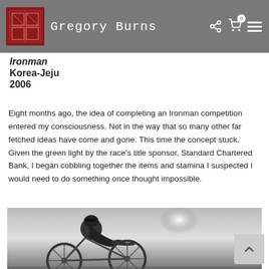Gregory Burns
Ironman
Korea-Jeju
2006
Eight months ago, the idea of completing an Ironman competition entered my consciousness. Not in the way that so many other far fetched ideas have come and gone. This time the concept stuck. Given the green light by the race's title sponsor, Standard Chartered Bank, I began cobbling together the items and stamina I suspected I would need to do something once thought impossible.
[Figure (photo): Black and white photo of a cyclist leaning over a bicycle, working on it, with a bright sun in the background]